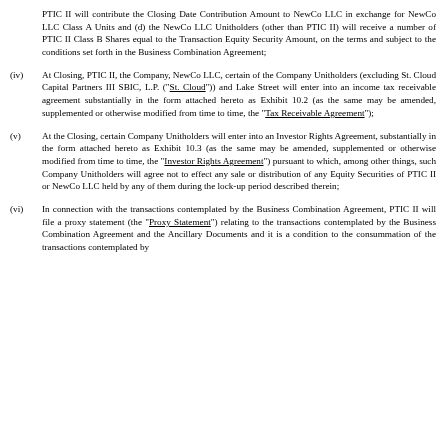PTIC II will contribute the Closing Date Contribution Amount to NewCo LLC in exchange for NewCo LLC Class A Units and (d) the NewCo LLC Unitholders (other than PTIC II) will receive a number of PTIC II Class B Shares equal to the Transaction Equity Security Amount, on the terms and subject to the conditions set forth in the Business Combination Agreement;
(iv) At Closing, PTIC II, the Company, NewCo LLC, certain of the Company Unitholders (excluding St. Cloud Capital Partners III SBIC, L.P. (“St. Cloud”)) and Lake Street will enter into an income tax receivable agreement substantially in the form attached hereto as Exhibit 10.2 (as the same may be amended, supplemented or otherwise modified from time to time, the “Tax Receivable Agreement”);
(v) At the Closing, certain Company Unitholders will enter into an Investor Rights Agreement, substantially in the form attached hereto as Exhibit 10.3 (as the same may be amended, supplemented or otherwise modified from time to time, the “Investor Rights Agreement”) pursuant to which, among other things, such Company Unitholders will agree not to effect any sale or distribution of any Equity Securities of PTIC II or NewCo LLC held by any of them during the lock-up period described therein;
(vi) In connection with the transactions contemplated by the Business Combination Agreement, PTIC II will file a proxy statement (the “Proxy Statement”) relating to the transactions contemplated by the Business Combination Agreement and the Ancillary Documents and it is a condition to the consummation of the transactions contemplated by